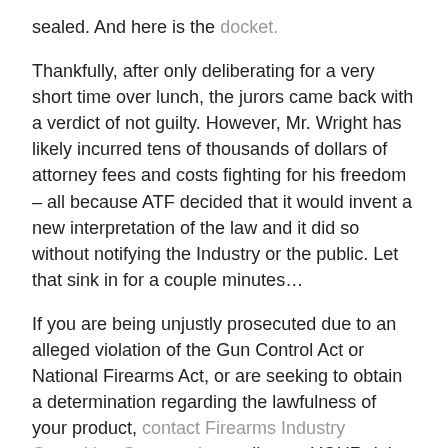sealed. And here is the docket.
Thankfully, after only deliberating for a very short time over lunch, the jurors came back with a verdict of not guilty. However, Mr. Wright has likely incurred tens of thousands of dollars of attorney fees and costs fighting for his freedom – all because ATF decided that it would invent a new interpretation of the law and it did so without notifying the Industry or the public. Let that sink in for a couple minutes…
If you are being unjustly prosecuted due to an alleged violation of the Gun Control Act or National Firearms Act, or are seeking to obtain a determination regarding the lawfulness of your product, contact Firearms Industry Consulting Group today to discuss YOUR rights and legal options.